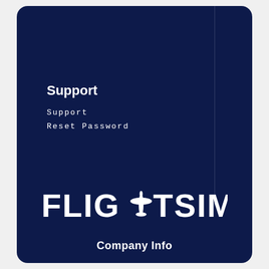Support
Support
Reset Password
[Figure (logo): FLIGHTSIM logo with airplane icon replacing the letter H, white text on dark navy background]
Company Info